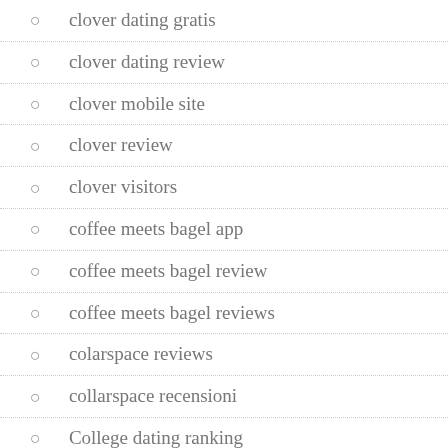clover dating gratis
clover dating review
clover mobile site
clover review
clover visitors
coffee meets bagel app
coffee meets bagel review
coffee meets bagel reviews
colarspace reviews
collarspace recensioni
College dating ranking
College Live XXX Chat Rooms